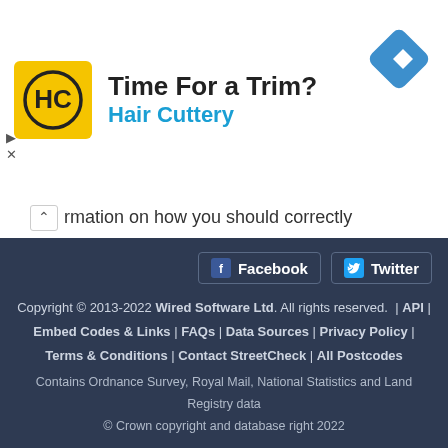[Figure (illustration): Hair Cuttery advertisement banner with yellow square logo (HC monogram), headline 'Time For a Trim?', subheadline 'Hair Cuttery' in blue, and a blue diamond-shaped navigation arrow icon on the right.]
…rmation on how you should correctly attribute the information.
Copyright © 2013-2022 Wired Software Ltd. All rights reserved. | API | Embed Codes & Links | FAQs | Data Sources | Privacy Policy | Terms & Conditions | Contact StreetCheck | All Postcodes
Contains Ordnance Survey, Royal Mail, National Statistics and Land Registry data
© Crown copyright and database right 2022